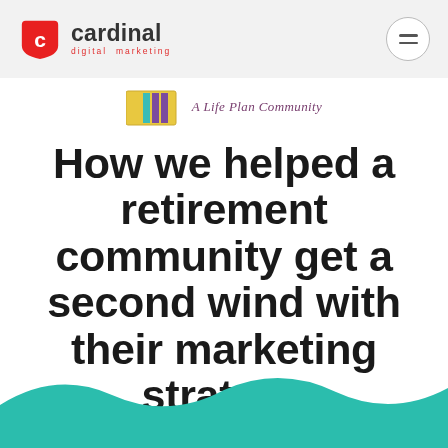[Figure (logo): Cardinal Digital Marketing logo with red shield C icon, bold 'cardinal' wordmark in dark gray, and 'digital marketing' subtitle in red below]
[Figure (logo): Client logo: colorful vertical bars icon (yellow, teal, purple) followed by italic text 'A Life Plan Community' in purple]
How we helped a retirement community get a second wind with their marketing strategy